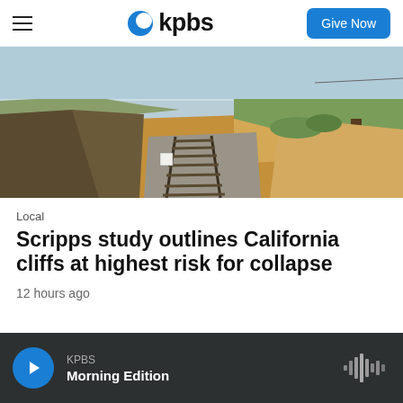KPBS — Give Now
[Figure (photo): Aerial or elevated view of railroad tracks running through a coastal California landscape with scrubby hillside vegetation, sandy soil, and a wooden post on the right side.]
Local
Scripps study outlines California cliffs at highest risk for collapse
12 hours ago
KPBS Morning Edition (audio player bar)